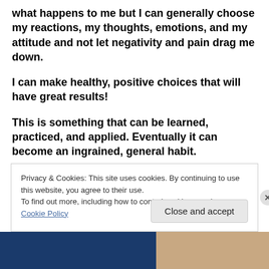what happens to me but I can generally choose my reactions, my thoughts, emotions, and my attitude and not let negativity and pain drag me down.
I can make healthy, positive choices that will have great results!
This is something that can be learned, practiced, and applied. Eventually it can become an ingrained, general habit.
Even when our physical environment is chaotic and
Privacy & Cookies: This site uses cookies. By continuing to use this website, you agree to their use.
To find out more, including how to control cookies, see here: Cookie Policy
Close and accept